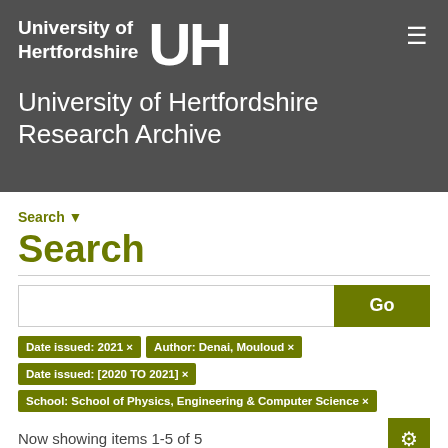[Figure (logo): University of Hertfordshire logo with UH monogram in white on dark grey background]
University of Hertfordshire Research Archive
Search ▾
Search
Date issued: 2021 ×
Author: Denai, Mouloud ×
Date issued: [2020 TO 2021] ×
School: School of Physics, Engineering & Computer Science ×
Now showing items 1-5 of 5